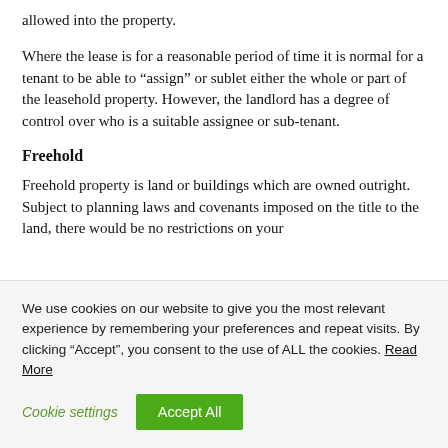allowed into the property.
Where the lease is for a reasonable period of time it is normal for a tenant to be able to “assign” or sublet either the whole or part of the leasehold property. However, the landlord has a degree of control over who is a suitable assignee or sub-tenant.
Freehold
Freehold property is land or buildings which are owned outright. Subject to planning laws and covenants imposed on the title to the land, there would be no restrictions on your
We use cookies on our website to give you the most relevant experience by remembering your preferences and repeat visits. By clicking “Accept”, you consent to the use of ALL the cookies. Read More
Cookie settings  Accept All